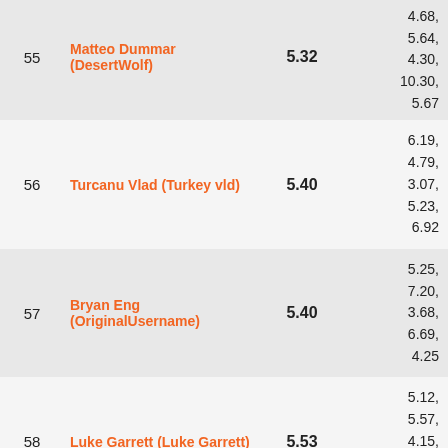| # | Name | Avg | Scores | Comment |
| --- | --- | --- | --- | --- |
| 55 | Matteo Dummar (DesertWolf) | 5.32 | 4.68,
5.64,
4.30,
10.30,
5.67 | messed u...
other the...
nice scra... |
| 56 | Turcanu Vlad (Turkey vld) | 5.40 | 6.19,
4.79,
3.07,
5.23,
6.92 |  |
| 57 | Bryan Eng (OriginalUsername) | 5.40 | 5.25,
7.20,
3.68,
6.69,
4.25 |  |
| 58 | Luke Garrett (Luke Garrett) | 5.53 | 5.12,
5.57,
4.15,
6.96,
5.90 |  |
| 59 |  |  | 6.32,
4.91... |  |